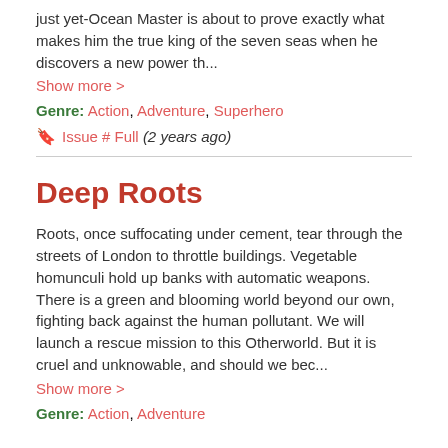just yet-Ocean Master is about to prove exactly what makes him the true king of the seven seas when he discovers a new power th...
Show more >
Genre: Action, Adventure, Superhero
Issue # Full (2 years ago)
Deep Roots
Roots, once suffocating under cement, tear through the streets of London to throttle buildings. Vegetable homunculi hold up banks with automatic weapons. There is a green and blooming world beyond our own, fighting back against the human pollutant. We will launch a rescue mission to this Otherworld. But it is cruel and unknowable, and should we bec...
Show more >
Genre: Action, Adventure